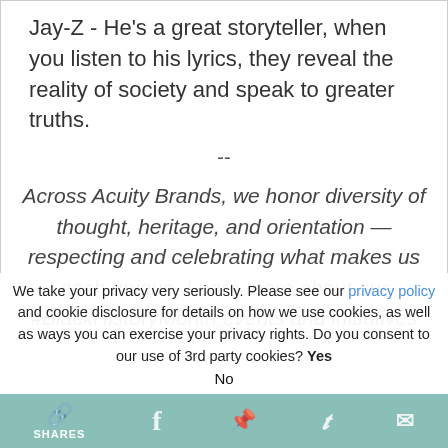Jay-Z - He's a great storyteller, when you listen to his lyrics, they reveal the reality of society and speak to greater truths.
--
Across Acuity Brands, we honor diversity of thought, heritage, and orientation — respecting and celebrating what makes us each unique. Learn more about our #BlackHistoryMonth events and initiatives by following us on social media @AcuityBrands
We take your privacy very seriously. Please see our privacy policy and cookie disclosure for details on how we use cookies, as well as ways you can exercise your privacy rights. Do you consent to our use of 3rd party cookies? Yes No